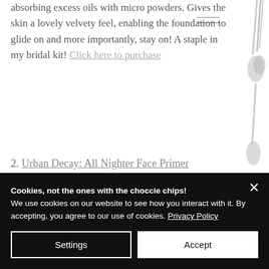absorbing excess oils with micro powders. Gives the skin a lovely velvety feel, enabling the foundation to glide on and more importantly, stay on! A staple in my bridal kit! Click here to purchase
[Figure (illustration): Decorative right-side column showing makeup brushes and tools in light gray tones]
2. Urban Decay: All Nighter Face Primer
Cookies, not the ones with the choccie chips!
We use cookies on our website to see how you interact with it. By accepting, you agree to our use of cookies. Privacy Policy
Settings | Accept